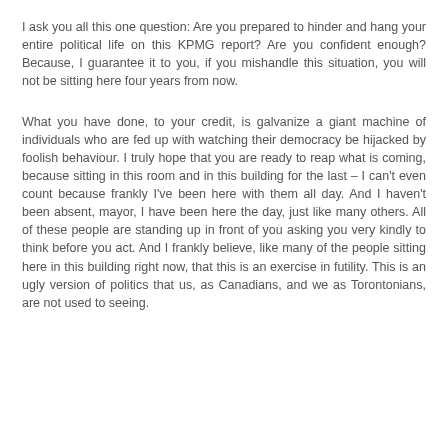I ask you all this one question: Are you prepared to hinder and hang your entire political life on this KPMG report? Are you confident enough? Because, I guarantee it to you, if you mishandle this situation, you will not be sitting here four years from now.
What you have done, to your credit, is galvanize a giant machine of individuals who are fed up with watching their democracy be hijacked by foolish behaviour. I truly hope that you are ready to reap what is coming, because sitting in this room and in this building for the last – I can't even count because frankly I've been here with them all day. And I haven't been absent, mayor, I have been here the day, just like many others. All of these people are standing up in front of you asking you very kindly to think before you act. And I frankly believe, like many of the people sitting here in this building right now, that this is an exercise in futility. This is an ugly version of politics that us, as Canadians, and we as Torontonians, are not used to seeing.